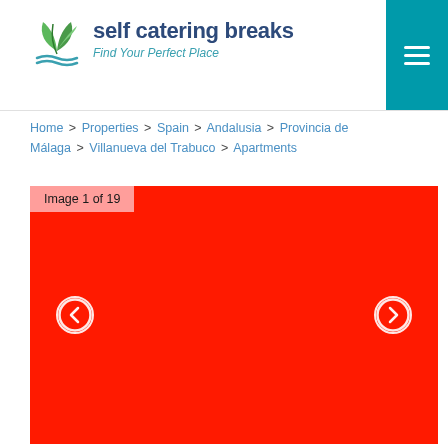self catering breaks — Find Your Perfect Place
Home > Properties > Spain > Andalusia > Provincia de Málaga > Villanueva del Trabuco > Apartments
[Figure (photo): Image slideshow viewer showing image 1 of 19 with a red/placeholder image and left/right navigation arrows]
Image 1 of 19